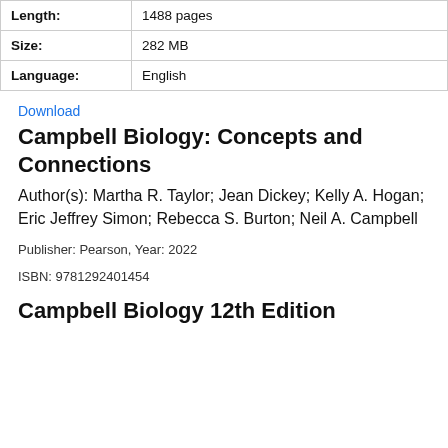| Length: | 1488 pages |
| Size: | 282 MB |
| Language: | English |
Download
Campbell Biology: Concepts and Connections
Author(s): Martha R. Taylor; Jean Dickey; Kelly A. Hogan; Eric Jeffrey Simon; Rebecca S. Burton; Neil A. Campbell
Publisher: Pearson, Year: 2022
ISBN: 9781292401454
Campbell Biology 12th Edition